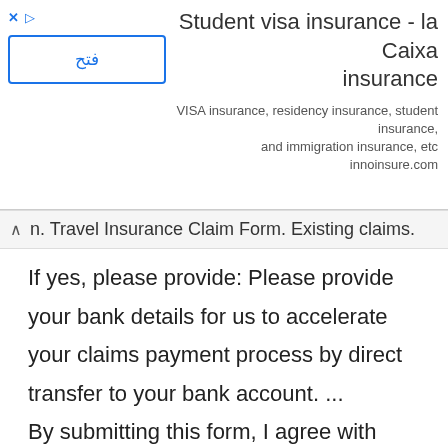[Figure (other): Advertisement banner for Student visa insurance - la Caixa insurance. Contains close/play icons, an Arabic button labeled 'فتح' (Open), the title 'Student visa insurance - la Caixa insurance', and subtitle text 'VISA insurance, residency insurance, student insurance, and immigration insurance, etc innoinsure.com']
n. Travel Insurance Claim Form. Existing claims.
If yes, please provide: Please provide your bank details for us to accelerate your claims payment process by direct transfer to your bank account. ... By submitting this form, I agree with AXA's use of my personal data above to conduct direct marketing in relation to insurance products issued by AXA. How to make a claim. Trip Delay / Cancellation Financial Emergency Others (Please note: The attending physicianâs report in Part II along with discharge summary & FIR (in case of injury) are essential for